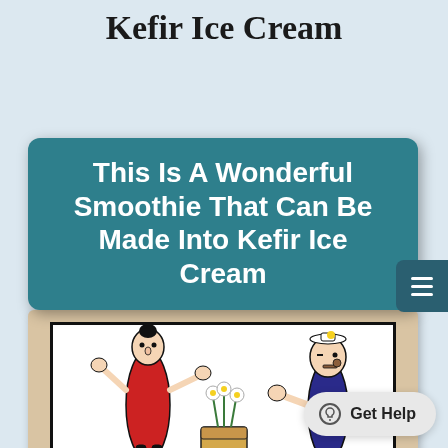Popeye and Olive Oyl Kefir Ice Cream
This Is A Wonderful Smoothie That Can Be Made Into Kefir Ice Cream
[Figure (illustration): Cartoon illustration of Popeye and Olive Oyl characters with a can of spinach and a flower pot]
Get Help